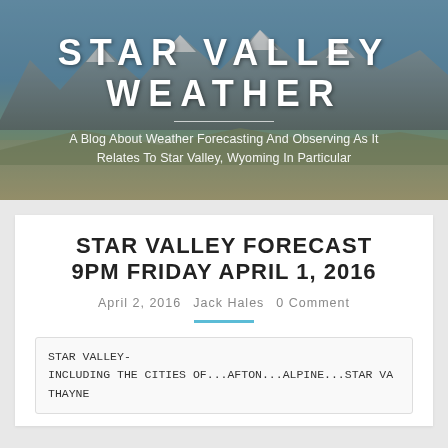[Figure (photo): Mountain landscape background with snow-capped peaks and valley, used as header background image for Star Valley Weather blog]
STAR VALLEY WEATHER
A Blog About Weather Forecasting And Observing As It Relates To Star Valley, Wyoming In Particular
STAR VALLEY FORECAST 9PM FRIDAY APRIL 1, 2016
April 2, 2016   Jack Hales   0 Comment
STAR VALLEY-
INCLUDING THE CITIES OF...AFTON...ALPINE...STAR VA
THAYNE